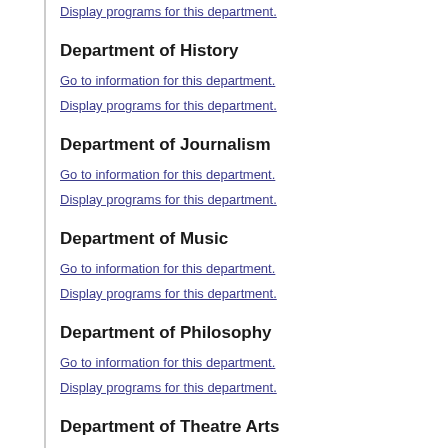Display programs for this department.
Department of History
Go to information for this department.
Display programs for this department.
Department of Journalism
Go to information for this department.
Display programs for this department.
Department of Music
Go to information for this department.
Display programs for this department.
Department of Philosophy
Go to information for this department.
Display programs for this department.
Department of Theatre Arts
Go to information for this department.